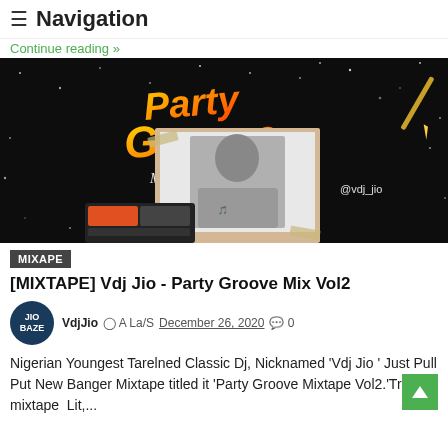≡ Navigation
Continue reading »
[Figure (photo): Party Groove Mixtape Vol2 promotional image featuring DJ with turntable equipment, dark starry background with orange and yellow stylized text reading 'Party Groove Mixtape (Vol2)' and @vdj_jio watermark]
MIXAPE
[MIXTAPE] Vdj Jio - Party Groove Mix Vol2
VdjJio  A La/S December 26, 2020  0
Nigerian Youngest Tarelned Classic Dj, Nicknamed 'Vdj Jio ' Just Pull Put New Banger Mixtape titled it 'Party Groove Mixtape Vol2.'Tru this mixtape  Lit,...